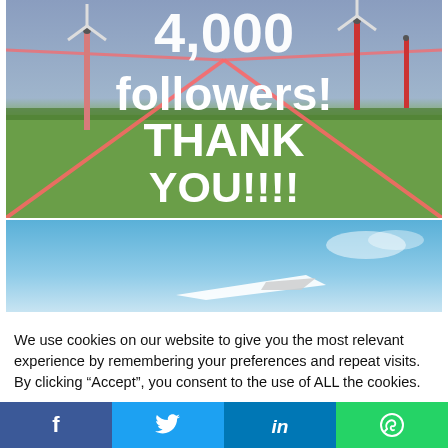[Figure (photo): Outdoor photo of wind turbines in a field with pink/red geometric overlay lines. Large white bold text reads '4,000 followers! THANK YOU!!!!']
[Figure (photo): Partial image showing a blue sky with what appears to be a white aircraft or drone in the lower portion.]
We use cookies on our website to give you the most relevant experience by remembering your preferences and repeat visits. By clicking “Accept”, you consent to the use of ALL the cookies.
Cookie settings
ACCEPT ALL
f  [Twitter bird]  in  [WhatsApp]